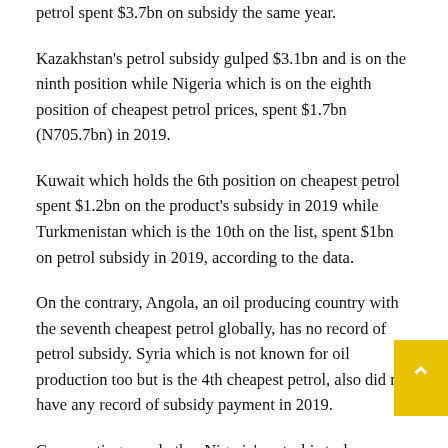petrol spent $3.7bn on subsidy the same year.
Kazakhstan's petrol subsidy gulped $3.1bn and is on the ninth position while Nigeria which is on the eighth position of cheapest petrol prices, spent $1.7bn (N705.7bn) in 2019.
Kuwait which holds the 6th position on cheapest petrol spent $1.2bn on the product's subsidy in 2019 while Turkmenistan which is the 10th on the list, spent $1bn on petrol subsidy in 2019, according to the data.
On the contrary, Angola, an oil producing country with the seventh cheapest petrol globally, has no record of petrol subsidy. Syria which is not known for oil production too but is the 4th cheapest petrol, also did not have any record of subsidy payment in 2019.
Commenting on whether Nigeria's petrol is truly affordable,